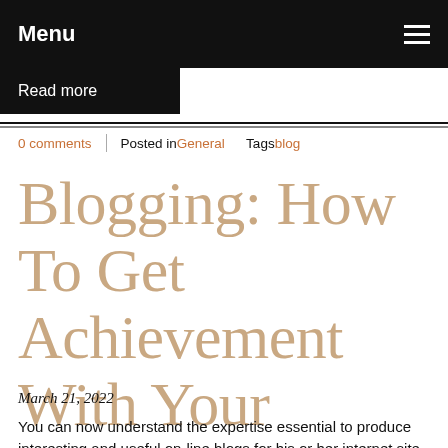Menu
Read more
0 comments  Posted in General  Tags blog
Blogging: How To Get Achievement With Your Producing
March 21, 2022
You can now understand the expertise essential to produce interesting and useful on-line blogs for his or her internet site.